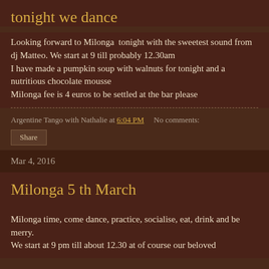tonight we dance
Looking forward to Milonga  tonight with the sweetest sound from dj Matteo. We start at 9 till probably 12.30am
I have made a pumpkin soup with walnuts for tonight and a nutritious chocolate mousse
Milonga fee is 4 euros to be settled at the bar please
Argentine Tango with Nathalie at 6:04 PM    No comments:
Share
Mar 4, 2016
Milonga 5 th March
Milonga time, come dance, practice, socialise, eat, drink and be merry.
We start at 9 pm till about 12.30 at of course our beloved